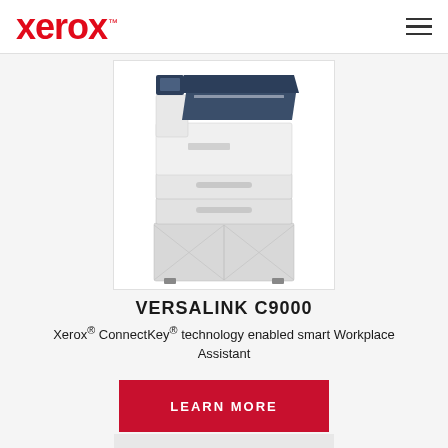Xerox™
[Figure (photo): Xerox VersaLink C9000 color printer with paper trays and cabinet stand, white and dark navy blue body]
VERSALINK C9000
Xerox® ConnectKey® technology enabled smart Workplace Assistant
LEARN MORE
[Figure (photo): Partial view of another Xerox product at bottom of page]